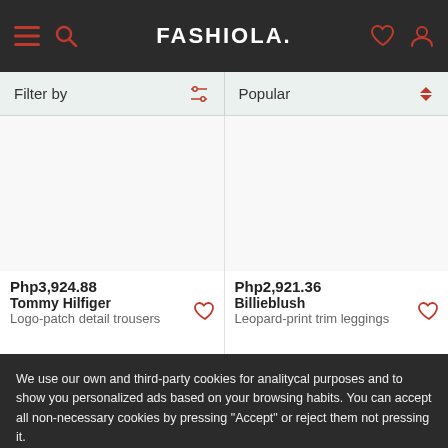FASHIOLA.
Filter by | Popular
Php3,924.88
Tommy Hilfiger
Logo-patch detail trousers
Php2,921.36
Billieblush
Leopard-print trim leggings
We use our own and third-party cookies for analitycal purposes and to show you personalized ads based on your browsing habits. You can accept all non-necessary cookies by pressing "Accept" or reject them not pressing it.
More information
Accept